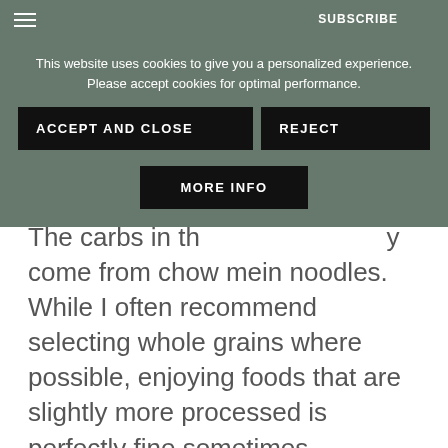[Figure (screenshot): Cookie consent banner overlay on a food blog website. Contains text: 'This website uses cookies to give you a personalized experience. Please accept cookies for optimal performance.' with three buttons: ACCEPT AND CLOSE, REJECT, MORE INFO. Background is dark olive/sage green.]
The carbs in th[is recipe mainly] come from chow mein noodles. While I often recommend selecting whole grains where possible, enjoying foods that are slightly more processed is perfectly fine sometimes.
As for fats, there are healthy fats in the tofu and edamame. There are also fats from the oil used to stir fry the tofu and